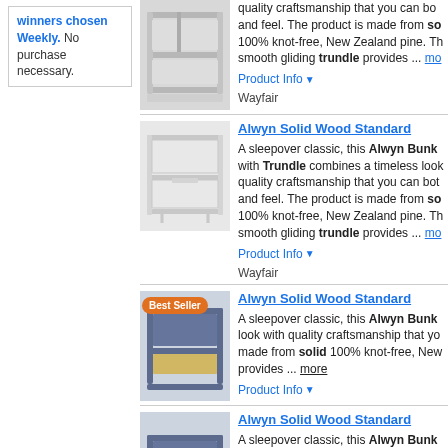winners chosen Weekly. No purchase necessary.
[Figure (photo): Bunk bed product image 1]
quality craftsmanship that you can bo... and feel. The product is made from solid 100% knot-free, New Zealand pine. Th smooth gliding trundle provides ... more
Product Info ▼
Wayfair
Alwyn Solid Wood Standard
[Figure (photo): Bunk bed product image 2 - line drawing style]
A sleepover classic, this Alwyn Bunk with Trundle combines a timeless look quality craftsmanship that you can bot and feel. The product is made from solid 100% knot-free, New Zealand pine. Th smooth gliding trundle provides ... more
Product Info ▼
Wayfair
Alwyn Solid Wood Standard
[Figure (photo): Bunk bed product image 3 - Best Seller badge, navy blue bunk bed]
A sleepover classic, this Alwyn Bunk look with quality craftsmanship that yo made from solid 100% knot-free, New provides ... more
Product Info ▼
Alwyn Solid Wood Standard
[Figure (photo): Bunk bed product image 4 - navy blue bunk bed]
A sleepover classic, this Alwyn Bunk look with quality craftsmanship that yo made from solid 100% knot-free, New